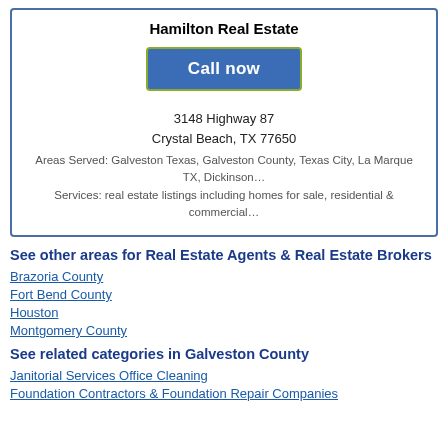Hamilton Real Estate
[Figure (other): Call now button (blue button with white text)]
3148 Highway 87
Crystal Beach, TX 77650
Areas Served: Galveston Texas, Galveston County, Texas City, La Marque TX, Dickinson…
Services: real estate listings including homes for sale, residential & commercial…
See other areas for Real Estate Agents & Real Estate Brokers
Brazoria County
Fort Bend County
Houston
Montgomery County
See related categories in Galveston County
Janitorial Services Office Cleaning
Foundation Contractors & Foundation Repair Companies